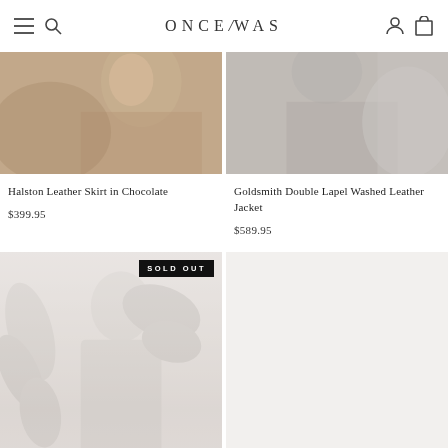ONCE WAS
[Figure (photo): Partial view of model wearing Halston Leather Skirt in Chocolate, warm brown tones]
Halston Leather Skirt in Chocolate
$399.95
[Figure (photo): Partial view of model wearing Goldsmith Double Lapel Washed Leather Jacket, grey tones]
Goldsmith Double Lapel Washed Leather Jacket
$589.95
[Figure (photo): Model in white/cream garment with floral/botanical overlay, SOLD OUT badge shown]
[Figure (photo): Empty light grey product image placeholder]